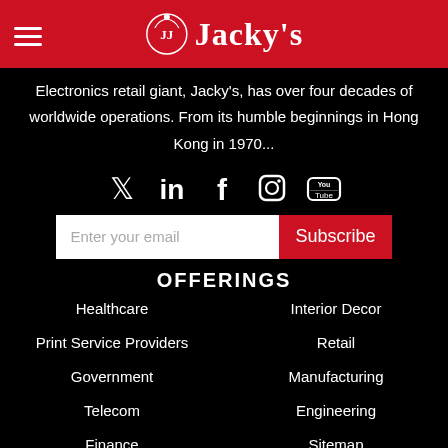Jacky's
Electronics retail giant, Jacky's, has over four decades of worldwide operations. From its humble beginnings in Hong Kong in 1970...
[Figure (infographic): Social media icons: Twitter, LinkedIn, Facebook, Instagram, YouTube]
Enter your email | Subscribe
OFFERINGS
Healthcare
Interior Decor
Print Service Providers
Retail
Government
Manufacturing
Telecom
Engineering
Finance
Sitemap
Education
ENQUIRE NOW